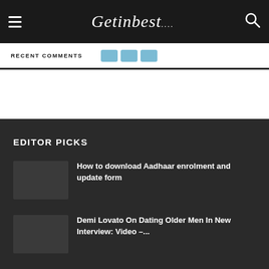Getinbest
RECENT COMMENTS
EDITOR PICKS
How to download Aadhaar enrolment and update form
Demi Lovato On Dating Older Men In New Interview: Video –...